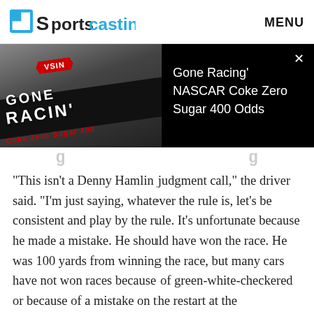Sportscasting | MENU
[Figure (screenshot): Gone Racin' NASCAR Coke Zero Sugar 400 Odds video thumbnail on dark background with VSIN logo]
Gone Racing' NASCAR Coke Zero Sugar 400 Odds
“This isn't a Denny Hamlin judgment call,” the driver said. “I'm just saying, whatever the rule is, let's be consistent and play by the rule. It's unfortunate because he made a mistake. He should have won the race. He was 100 yards from winning the race, but many cars have not won races because of green-white-checkered or because of a mistake on the restart at the